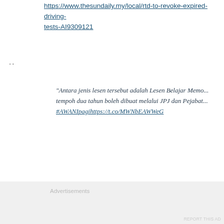https://www.thesundaily.my/local/rtd-to-revoke-expired-driving-tests-AI9309121
..
“Antara jenis lesen tersebut adalah Lesen Belajar Meme... tempoh dua tahun boleh dibuat melalui JPJ dan Pejabat... #AWANIpagihttps://t.co/MWNbEAWWeG
— 🇲🇾 Astro AWANI 🇲🇾 (@501Awani) June 10, 2022
..
Advertisements
[Figure (other): Advertisement box with P3 logo icon and close button]
Advertisements
REPORT THIS AD